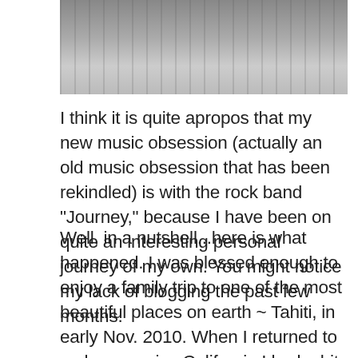[Figure (photo): Partial photo showing what appears to be a person or figure on a surface, cropped at top of page]
I think it is quite apropos that my new music obsession (actually an old music obsession that has been rekindled) is with the rock band "Journey," because I have been on quite an interesting personal journey of my own. You might notice my lack of blogging the past few months.
Well, in a nutshell...here is what happened. I was blessed enough to enjoy a family trip to one of the most beautiful places on earth ~ Tahiti, in early Nov. 2010. When I returned to a gloomy, rainy California I had a bit of a case of the post-vacation blues. Okay, more the a bit, more like a lot! Just as I was trying to recuperate and get over it I received my first rejection note from my manuscript submissions. I was expecting this of course but nonetheless I was already feeling down and this just tipped me over the edge. After that I didn't get the urge